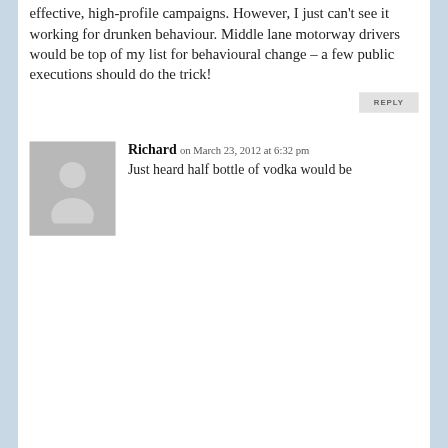effective, high-profile campaigns.  However, I just can't see it working for drunken behaviour. Middle lane motorway drivers would be top of my list for behavioural change – a few public executions should do the trick!
REPLY
[Figure (illustration): Grey placeholder avatar icon showing a silhouette of a person (head and shoulders)]
Richard on March 23, 2012 at 6:32 pm
Just heard half bottle of vodka would be